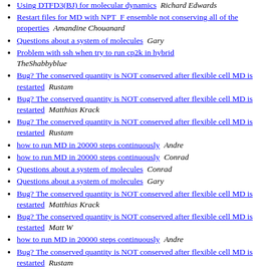Using DTFD3(BJ) for molecular dynamics  Richard Edwards
Restart files for MD with NPT_F ensemble not conserving all of the properties  Amandine Chouanard
Questions about a system of molecules  Gary
Problem with ssh when try to run cp2k in hybrid  TheShabbyblue
Bug? The conserved quantity is NOT conserved after flexible cell MD is restarted  Rustam
Bug? The conserved quantity is NOT conserved after flexible cell MD is restarted  Matthias Krack
Bug? The conserved quantity is NOT conserved after flexible cell MD is restarted  Rustam
how to run MD in 20000 steps continuously  Andre
how to run MD in 20000 steps continuously  Conrad
Questions about a system of molecules  Conrad
Questions about a system of molecules  Gary
Bug? The conserved quantity is NOT conserved after flexible cell MD is restarted  Matthias Krack
Bug? The conserved quantity is NOT conserved after flexible cell MD is restarted  Matt W
how to run MD in 20000 steps continuously  Andre
Bug? The conserved quantity is NOT conserved after flexible cell MD is restarted  Rustam
Restart files for MD with NPT_F ensemble not conserving all of the properties  (truncated)